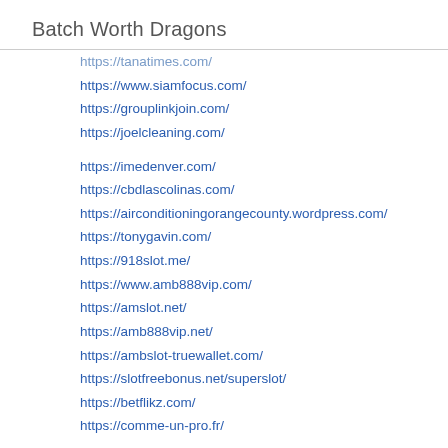Batch Worth Dragons
https://tanatimes.com/
https://www.siamfocus.com/
https://grouplinkjoin.com/
https://joelcleaning.com/
https://imedenver.com/
https://cbdlascolinas.com/
https://airconditioningorangecounty.wordpress.com/
https://tonygavin.com/
https://918slot.me/
https://www.amb888vip.com/
https://amslot.net/
https://amb888vip.net/
https://ambslot-truewallet.com/
https://slotfreebonus.net/superslot/
https://betflikz.com/
https://comme-un-pro.fr/